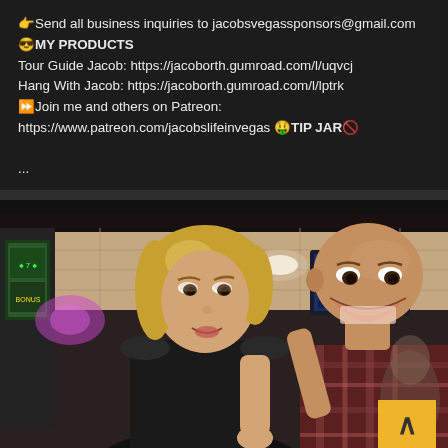👉Send all business inquiries to jacobsvegassponsors@gmail.com 😎MY PRODUCTS Tour Guide Jacob: https://jacoborth.gumroad.com/l/uqvcj Hang With Jacob: https://jacoborth.gumroad.com/l/lptrk ⏩Join me and others on Patreon: https://www.patreon.com/jacobslifeinvegas 🤑TIP JAR🚫 ...
[Figure (photo): Photo of a woman with blonde hair in a black top and a bald man in a plaid shirt smiling, appearing to be inside a casino or bar with gaming machines and TV screens visible in the background.]